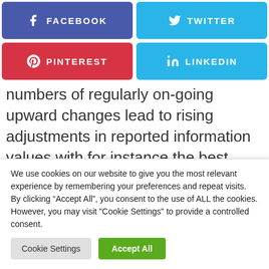[Figure (other): Social media share buttons row 1: Facebook (blue-purple) and Twitter (light blue)]
[Figure (other): Social media share buttons row 2: Pinterest (red) and LinkedIn (light blue)]
numbers of regularly on-going upward changes lead to rising adjustments in reported information values with for instance the best annual international temperature anomaly measurement as reported initially for year-end 2016 rising from 0.94 levels C to
We use cookies on our website to give you the most relevant experience by remembering your preferences and repeat visits. By clicking “Accept All”, you consent to the use of ALL the cookies. However, you may visit "Cookie Settings" to provide a controlled consent.